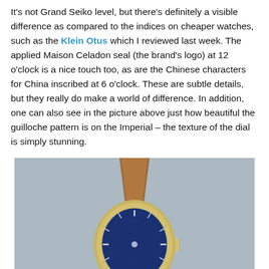It's not Grand Seiko level, but there's definitely a visible difference as compared to the indices on cheaper watches, such as the Klein Otus which I reviewed last week. The applied Maison Celadon seal (the brand's logo) at 12 o'clock is a nice touch too, as are the Chinese characters for China inscribed at 6 o'clock. These are subtle details, but they really do make a world of difference. In addition, one can also see in the picture above just how beautiful the guilloche pattern is on the Imperial – the texture of the dial is simply stunning.
[Figure (photo): Photograph of a wristwatch with a blue guilloche dial, gold-tone case, brown leather strap, viewed from the top showing the crown on the right side, against a grey-blue background.]